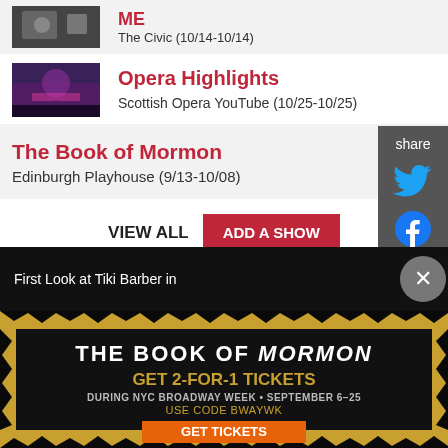The Civic (10/14-10/14)
Opera Highlights
Scottish Opera YouTube (10/25-10/25)
The Book of Mormon
Edinburgh Playhouse (9/13-10/08)
VIEW ALL
ADD A SHOW
share
Get Scotland Emails
Get the latest news, discounts & more.
E-mail address
Sign Up
First Look at Tiki Barber in
[Figure (infographic): The Book of Mormon musical advertisement: GET 2-FOR-1 TICKETS DURING NYC BROADWAY WEEK • SEPTEMBER 6-25, USE CODE BWAYWK, GET TICKETS button]
[Figure (photo): Small thumbnail of a performance scene, dark background]
[Figure (photo): Small thumbnail of Opera Highlights, purple/dark stage scene]